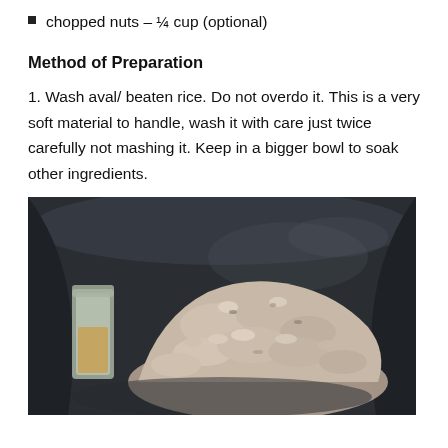chopped nuts – ¼ cup (optional)
Method of Preparation
1. Wash aval/ beaten rice. Do not overdo it. This is a very soft material to handle, wash it with care just twice carefully not mashing it. Keep in a bigger bowl to soak other ingredients.
[Figure (photo): A dark metal bowl containing washed aval (beaten rice/poha), with a small glass container of spice visible on the left side.]